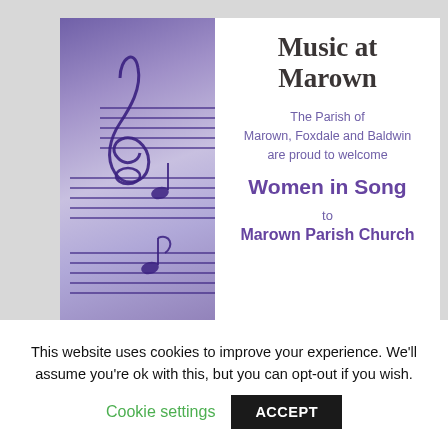[Figure (illustration): Music at Marown event poster showing music staff lines with treble clef on purple/lavender background on left side, and text on white right side: 'Music at Marown', 'The Parish of Marown, Foxdale and Baldwin are proud to welcome', 'Women in Song', 'to', 'Marown Parish Church']
This website uses cookies to improve your experience. We'll assume you're ok with this, but you can opt-out if you wish.
Cookie settings
ACCEPT